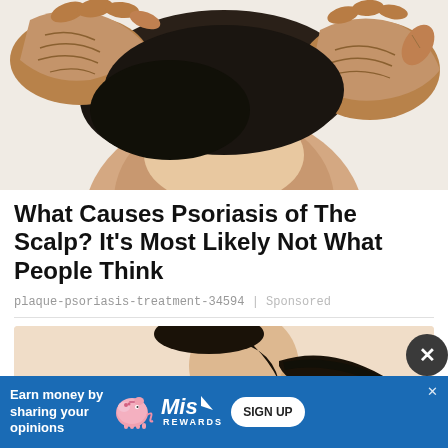[Figure (photo): Close-up photo of elderly hands scratching the scalp/back of neck of a person, showing wrinkled dark-skinned hands and dark hair, on a white background.]
What Causes Psoriasis of The Scalp? It's Most Likely Not What People Think
plaque-psoriasis-treatment-34594 | Sponsored
[Figure (photo): Photo of a young woman with dark hair in a ponytail, wearing a pink strap top, looking downward, against a beige/peach background.]
Earn money by sharing your opinions
SIGN UP